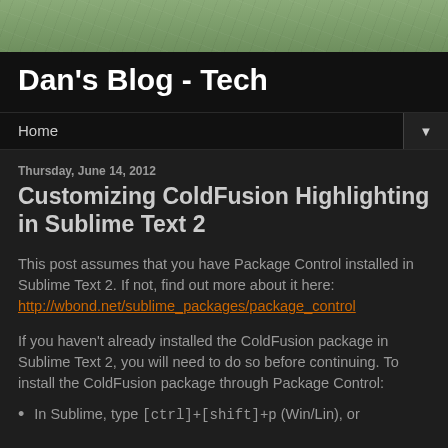[Figure (photo): Green textured header banner image]
Dan's Blog - Tech
Home ▼
Thursday, June 14, 2012
Customizing ColdFusion Highlighting in Sublime Text 2
This post assumes that you have Package Control installed in Sublime Text 2. If not, find out more about it here: http://wbond.net/sublime_packages/package_control
If you haven't already installed the ColdFusion package in Sublime Text 2, you will need to do so before continuing. To install the ColdFusion package through Package Control:
In Sublime, type [ctrl]+[shift]+p (Win/Lin), or